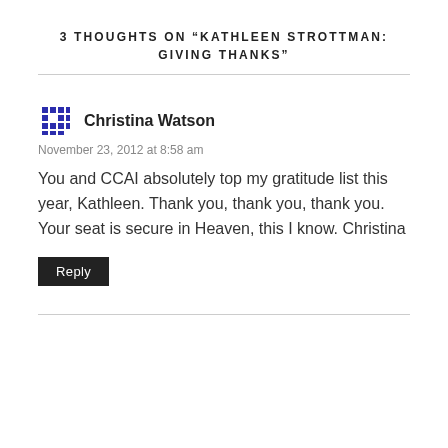3 THOUGHTS ON "KATHLEEN STROTTMAN: GIVING THANKS"
Christina Watson
November 23, 2012 at 8:58 am
You and CCAI absolutely top my gratitude list this year, Kathleen. Thank you, thank you, thank you. Your seat is secure in Heaven, this I know. Christina
Reply